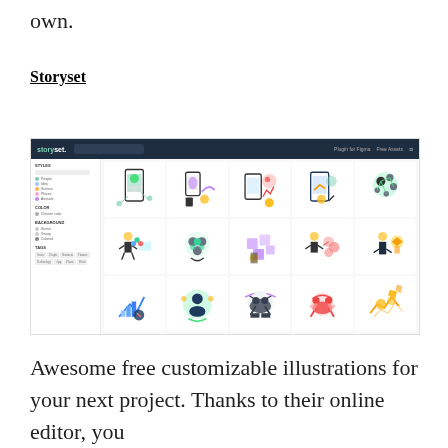own.
Storyset
[Figure (screenshot): Screenshot of the Storyset website showing a grid of customizable illustrations with a dark navy navigation bar, sidebar filters (style, color, background, tags), and three rows of five illustration thumbnails each depicting various tech and business scenes.]
Awesome free customizable illustrations for your next project. Thanks to their online editor, you